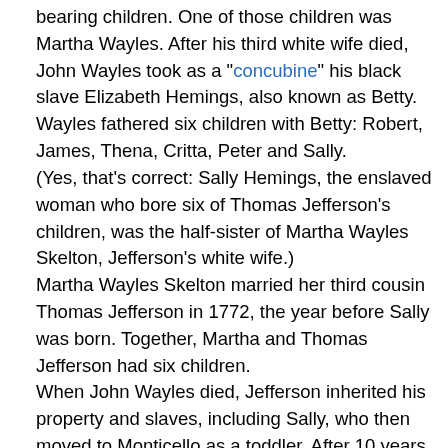bearing children. One of those children was Martha Wayles. After his third white wife died, John Wayles took as a "concubine" his black slave Elizabeth Hemings, also known as Betty. Wayles fathered six children with Betty: Robert, James, Thena, Critta, Peter and Sally.
(Yes, that's correct: Sally Hemings, the enslaved woman who bore six of Thomas Jefferson's children, was the half-sister of Martha Wayles Skelton, Jefferson's white wife.)
Martha Wayles Skelton married her third cousin Thomas Jefferson in 1772, the year before Sally was born. Together, Martha and Thomas Jefferson had six children.
When John Wayles died, Jefferson inherited his property and slaves, including Sally, who then moved to Monticello as a toddler. After 10 years of marriage, Martha died. Only two of Martha's children with Jefferson survived into adulthood: